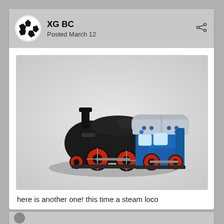XG BC
Posted March 12
[Figure (photo): A LEGO steam locomotive model rendered in 3D. The locomotive has a black boiler and front section with red wheels, and a blue cab with a gray rounded roof. The model is shown in an isometric perspective on a light gray background.]
here is another one! this time a steam loco